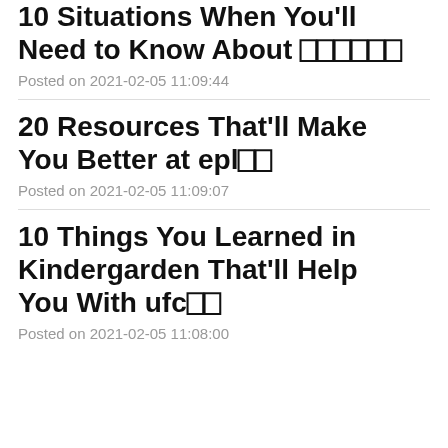10 Situations When You'll Need to Know About 🔲🔲🔲🔲🔲🔲
Posted on 2021-02-05 11:09:44
20 Resources That'll Make You Better at epl🔲🔲
Posted on 2021-02-05 11:09:07
10 Things You Learned in Kindergarden That'll Help You With ufc🔲🔲
Posted on 2021-02-05 11:08:00